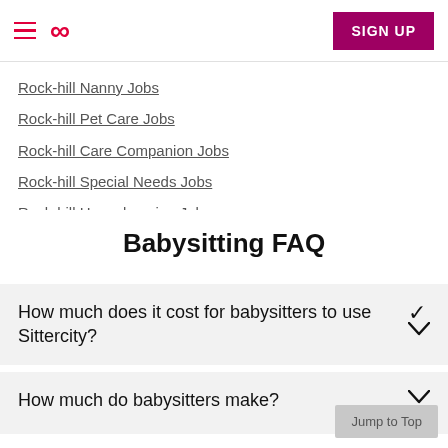Sittercity — hamburger menu, infinity logo, SIGN UP
Rock-hill Nanny Jobs
Rock-hill Pet Care Jobs
Rock-hill Care Companion Jobs
Rock-hill Special Needs Jobs
Rock-hill Housekeeping Jobs
Babysitting FAQ
How much does it cost for babysitters to use Sittercity?
How much do babysitters make?
Jump to Top